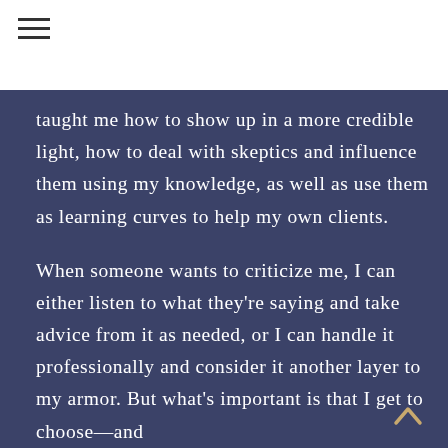taught me how to show up in a more credible light, how to deal with skeptics and influence them using my knowledge, as well as use them as learning curves to help my own clients.
When someone wants to criticize me, I can either listen to what they’re saying and take advice from it as needed, or I can handle it professionally and consider it another layer to my armor. But what’s important is that I get to choose—and